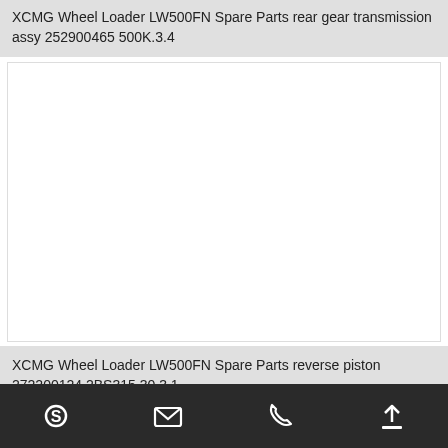XCMG Wheel Loader LW500FN Spare Parts rear gear transmission assy 252900465 500K.3.4
[Figure (photo): White product image area for XCMG Wheel Loader LW500FN spare part]
XCMG Wheel Loader LW500FN Spare Parts reverse piston 272200124 2BS315.30.3 1
[Figure (photo): White product image area for second XCMG Wheel Loader LW500FN spare part]
Skype | Email | Phone | Upload